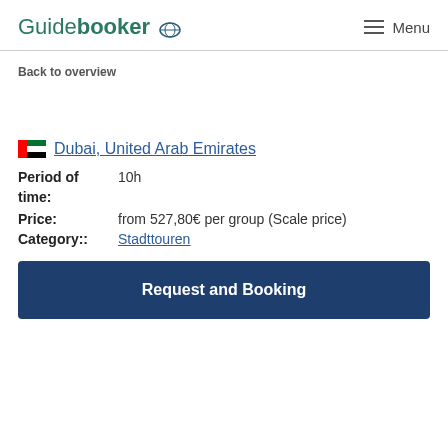Guidebooker  Menu
Back to overview
🇦🇪 Dubai, United Arab Emirates
Period of time: 10h
Price: from 527,80€ per group (Scale price)
Category:: Stadttouren
Request and Booking